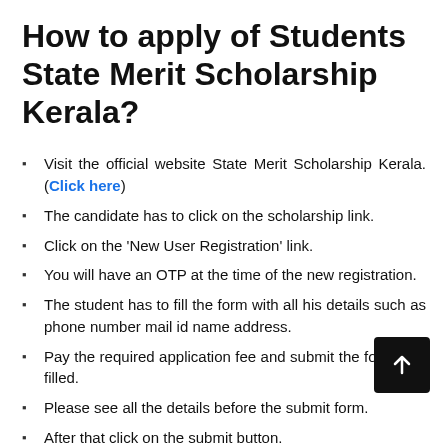How to apply of Students State Merit Scholarship Kerala?
Visit the official website State Merit Scholarship Kerala. (Click here)
The candidate has to click on the scholarship link.
Click on the ‘New User Registration’ link.
You will have an OTP at the time of the new registration.
The student has to fill the form with all his details such as phone number mail id name address.
Pay the required application fee and submit the form duly filled.
Please see all the details before the submit form.
After that click on the submit button.